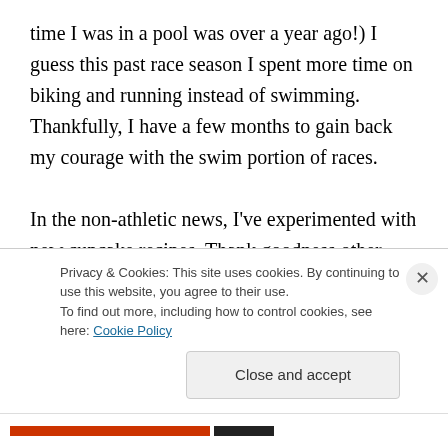time I was in a pool was over a year ago!) I guess this past race season I spent more time on biking and running instead of swimming. Thankfully, I have a few months to gain back my courage with the swim portion of races.

In the non-athletic news, I've experimented with new cupcake recipes. Thank goodness other people like cupcakes, otherwise, I do not know what I would do with all the baked goods I bake. I was also blessed to help decorate more than one Christmas tree. (If you don't know, I am a complete Christmas dork and love everything
Privacy & Cookies: This site uses cookies. By continuing to use this website, you agree to their use.
To find out more, including how to control cookies, see here: Cookie Policy
Close and accept